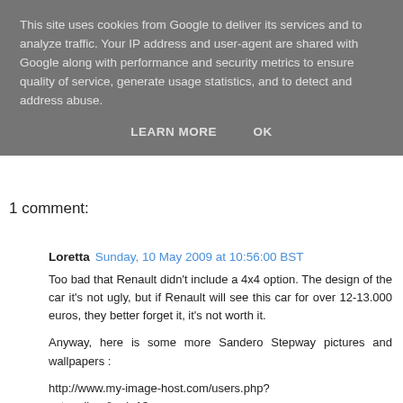This site uses cookies from Google to deliver its services and to analyze traffic. Your IP address and user-agent are shared with Google along with performance and security metrics to ensure quality of service, generate usage statistics, and to detect and address abuse.
LEARN MORE   OK
1 comment:
Loretta  Sunday, 10 May 2009 at 10:56:00 BST
Too bad that Renault didn't include a 4x4 option. The design of the car it's not ugly, but if Renault will see this car for over 12-13.000 euros, they better forget it, it's not worth it.
Anyway, here is some more Sandero Stepway pictures and wallpapers :
http://www.my-image-host.com/users.php?act=gallery&gal=13